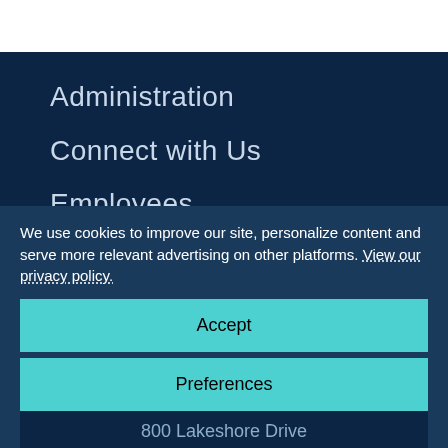Administration
Connect with Us
Employees
Quick Links
Services
We use cookies to improve our site, personalize content and serve more relevant advertising on other platforms. View our privacy policy.
Accept
Preferences
800 Lakeshore Drive